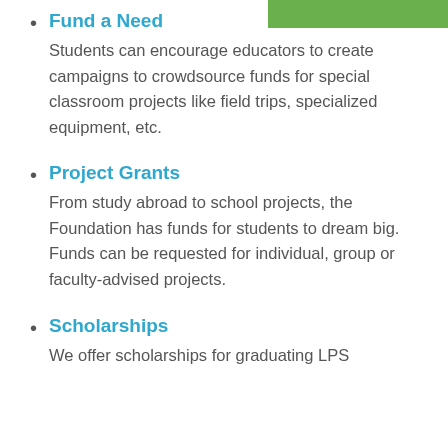Fund a Need
Students can encourage educators to create campaigns to crowdsource funds for special classroom projects like field trips, specialized equipment, etc.
Project Grants
From study abroad to school projects, the Foundation has funds for students to dream big. Funds can be requested for individual, group or faculty-advised projects.
Scholarships
We offer scholarships for graduating LPS students. The application process is for...